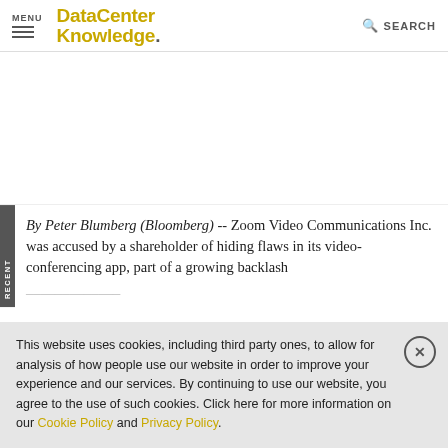MENU | DataCenter Knowledge. | SEARCH
[Figure (other): White advertisement placeholder area]
By Peter Blumberg (Bloomberg) -- Zoom Video Communications Inc. was accused by a shareholder of hiding flaws in its video-conferencing app, part of a growing backlash...
This website uses cookies, including third party ones, to allow for analysis of how people use our website in order to improve your experience and our services. By continuing to use our website, you agree to the use of such cookies. Click here for more information on our Cookie Policy and Privacy Policy.